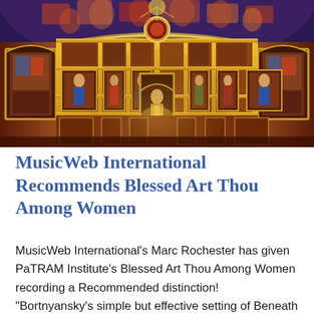[Figure (photo): Interior of an ornate Orthodox Christian church with colorful frescoes covering the vaulted ceiling and walls, a gilded iconostasis with multiple icons and arched doorways, warm golden lighting illuminating the altar area.]
MusicWeb International Recommends Blessed Art Thou Among Women
MusicWeb International's Marc Rochester has given PaTRAM Institute's Blessed Art Thou Among Women recording a Recommended distinction! “Bortnyansky’s simple but effective setting of Beneath Thy